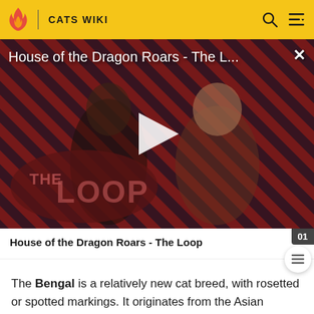CATS WIKI
[Figure (screenshot): Video thumbnail for 'House of the Dragon Roars - The L...' showing two characters in medieval/fantasy costume against a diagonal striped red and dark background. A large play button is in the center. 'THE LOOP' logo is overlaid bottom-left.]
House of the Dragon Roars - The Loop
The Bengal is a relatively new cat breed, with rosetted or spotted markings. It originates from the Asian leopard cat